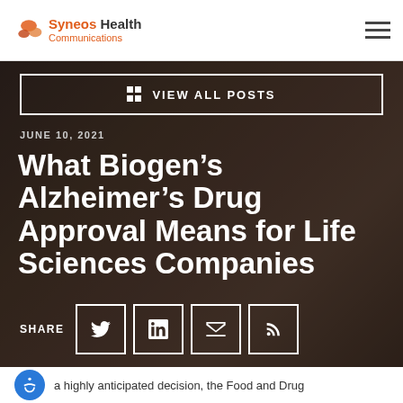Syneos Health Communications
VIEW ALL POSTS
JUNE 10, 2021
What Biogen's Alzheimer's Drug Approval Means for Life Sciences Companies
SHARE
a highly anticipated decision, the Food and Drug